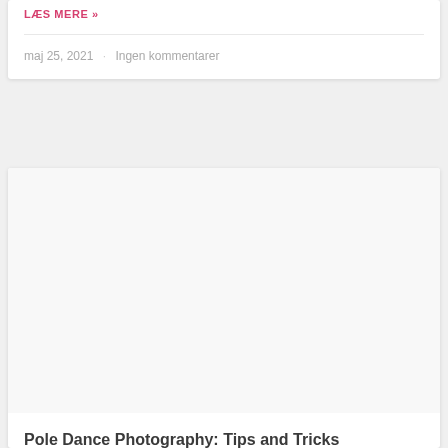LÆS MERE »
maj 25, 2021 · Ingen kommentarer
[Figure (photo): Empty white image placeholder area within a card]
Pole Dance Photography: Tips and Tricks